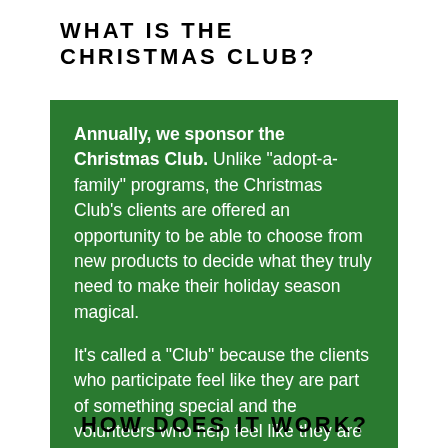WHAT IS THE CHRISTMAS CLUB?
Annually, we sponsor the Christmas Club. Unlike "adopt-a-family" programs, the Christmas Club's clients are offered an opportunity to be able to choose from new products to decide what they truly need to make their holiday season magical.

It's called a "Club" because the clients who participate feel like they are part of something special and the volunteers who help feel like they are making a unique and special impact!
HOW DOES IT WORK?